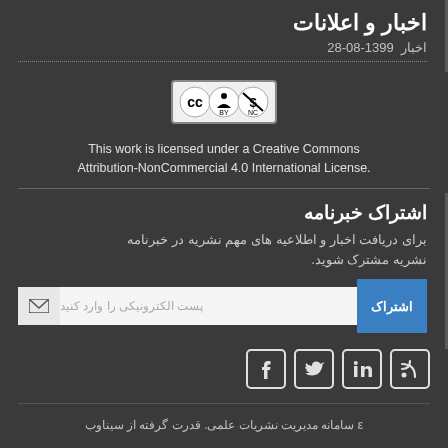اخبار و اعلانات
اخبار 1399-08-28
[Figure (logo): Creative Commons BY-NC license badge]
This work is licensed under a Creative Commons Attribution-NonCommercial 4.0 International License.
اشتراک خبرنامه
برای دریافت اخبار و اطلاعیه های مهم نشریه در خبرنامه نشریه مشترک شوید.
پست الکترونیکی را وارد کنید  |  اشتراک
[Figure (infographic): Social media icons: RSS, LinkedIn, Twitter, Facebook]
ε سامانه مدیریت نشریات علمی. قدرت گرفته از سیناوب